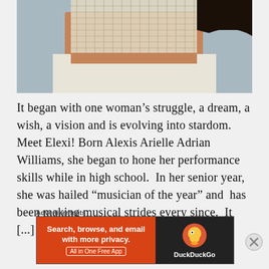[Figure (photo): Cropped photo of a woman wearing a white mesh/crochet crop top and white skirt/shorts, with dark hair visible in upper right corner. Background is blurred outdoor scene.]
It began with one woman’s struggle, a dream, a wish, a vision and is evolving into stardom. Meet Elexi! Born Alexis Arielle Adrian Williams, she began to hone her performance skills while in high school.  In her senior year, she was hailed “musician of the year” and  has been making musical strides every since.  It [...]
Advertisements
[Figure (screenshot): DuckDuckGo advertisement banner. Left side is orange/red with text 'Search, browse, and email with more privacy. All in One Free App'. Right side is dark with DuckDuckGo duck logo and brand name.]